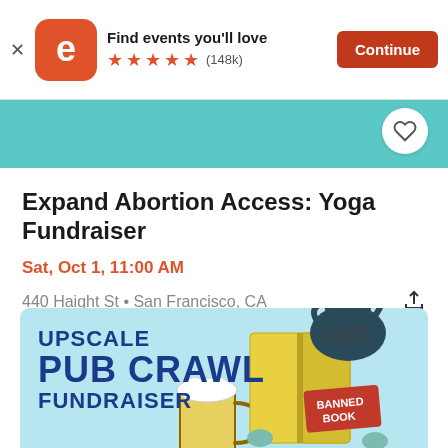Find events you'll love ★★★★★ (148k) Continue
Expand Abortion Access: Yoga Fundraiser
Sat, Oct 1, 11:00 AM
440 Haight St • San Francisco, CA
[Figure (illustration): Upscale Pub Crawl Fundraiser event card with illustration of a person reading a 'Banned Book' while holding a beer mug, on a light blue background]